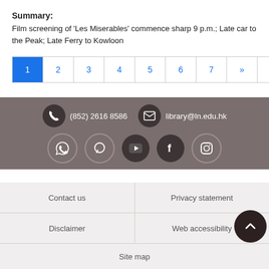Summary:
Film screening of 'Les Miserables' commence sharp 9 p.m.; Late car to the Peak; Late Ferry to Kowloon
[Figure (other): Pagination bar with pages 1 (active/blue), 2, 3, 4, 5, 6, 7, >>, Last>>]
[Figure (infographic): Library contact bar with phone (852) 2616 8586 and email library@ln.edu.hk, plus social media icons: WhatsApp, chat, YouTube, Facebook, Instagram]
Contact us | Privacy statement | Disclaimer | Web accessibility | Site map